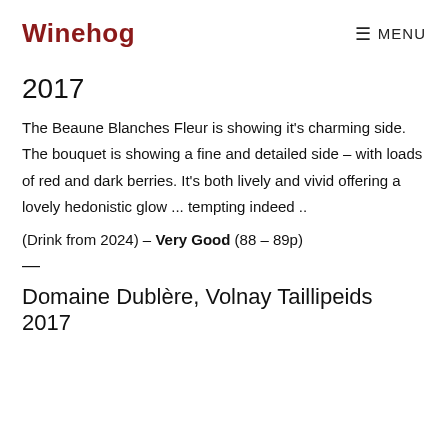Winehog   MENU
2017
The Beaune Blanches Fleur is showing it's charming side. The bouquet is showing a fine and detailed side – with loads of red and dark berries. It's both lively and vivid offering a lovely hedonistic glow ... tempting indeed ..
(Drink from 2024) – Very Good (88 – 89p)
—
Domaine Dublère, Volnay Taillipeids 2017